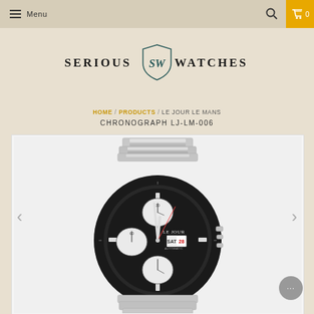Menu | Search | Cart 0
[Figure (logo): Serious Watches logo with shield emblem between the words SERIOUS and WATCHES]
HOME / PRODUCTS / LE JOUR LE MANS CHRONOGRAPH LJ-LM-006
CHRONOGRAPH LJ-LM-006
[Figure (photo): Le Jour Le Mans Chronograph LJ-LM-006 watch with black tachymeter bezel, three white sub-dials on dark face, day-date display, and stainless steel bracelet]